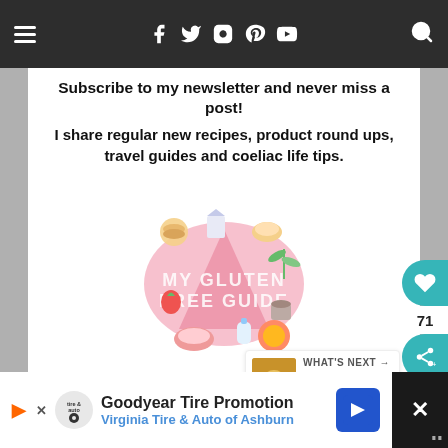Navigation bar with hamburger menu, social icons (Facebook, Twitter, Instagram, Pinterest, YouTube), and search icon
Subscribe to my newsletter and never miss a post!
I share regular new recipes, product round ups, travel guides and coeliac life tips.
[Figure (logo): My Gluten Free Guide logo with illustrated food items surrounding a pink triangle shape]
Email *
I Agree
WHAT'S NEXT → Gluten Free Lisbon Guide
Goodyear Tire Promotion
Virginia Tire & Auto of Ashburn